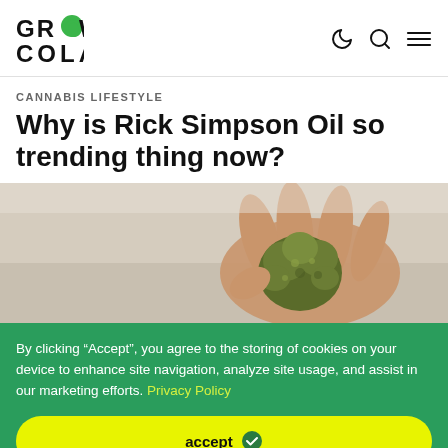GROW COLA
CANNABIS LIFESTYLE
Why is Rick Simpson Oil so trending thing now?
[Figure (photo): Close-up photo of a hand holding a cannabis bud with blurred background]
By clicking “Accept”, you agree to the storing of cookies on your device to enhance site navigation, analyze site usage, and assist in our marketing efforts. Privacy Policy
accept